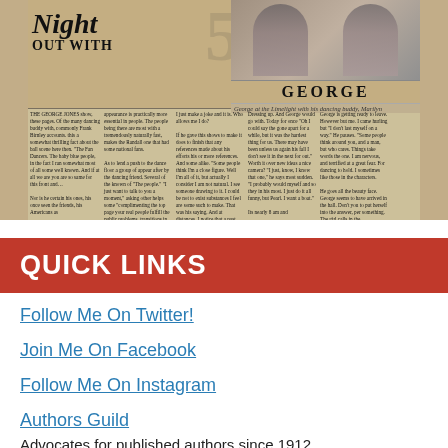[Figure (photo): Scanned newspaper clipping showing headline 'Night Out With GEORGE' with photograph of George and caption 'George at the Limelight with his dancing buddy, Marilyn'. Body text in multiple columns describing an outing.]
QUICK LINKS
Follow Me On Twitter!
Join Me On Facebook
Follow Me On Instagram
Authors Guild
Advocates for published authors since 1912